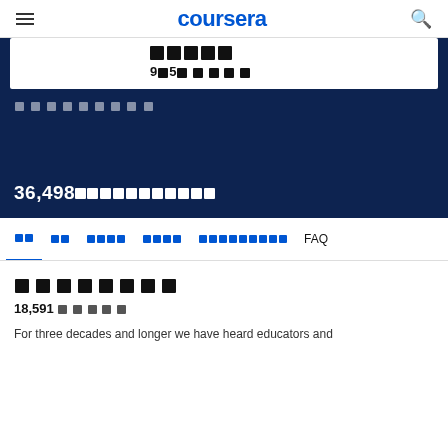coursera
[Figure (screenshot): Coursera course page screenshot showing a dark blue banner with a white card containing star ratings and text, a statistics counter showing 36,498 enrolled, navigation tabs, and a course section with 18,591 enrollments and description text.]
36,498■■■■■■■■■■■
■■ ■■ ■■■■ ■■■■ ■■■■■■■■■ FAQ
■■■■■■■■
18,591 ■■■■■
For three decades and longer we have heard educators and